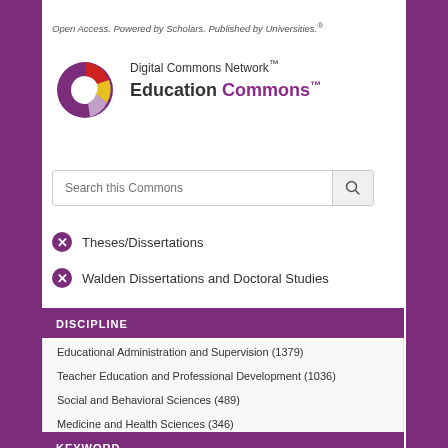Open Access. Powered by Scholars. Published by Universities.®
[Figure (logo): Digital Commons Network logo — circular donut icon with red, yellow, and purple segments]
Digital Commons Network™ Education Commons™
Search this Commons
✕ Theses/Dissertations
✕ Walden Dissertations and Doctoral Studies
DISCIPLINE
Educational Administration and Supervision (1379)
Teacher Education and Professional Development (1036)
Social and Behavioral Sciences (489)
Medicine and Health Sciences (346)
Elementary and Middle and Secondary Education Administration (316)
More
KEYWORD